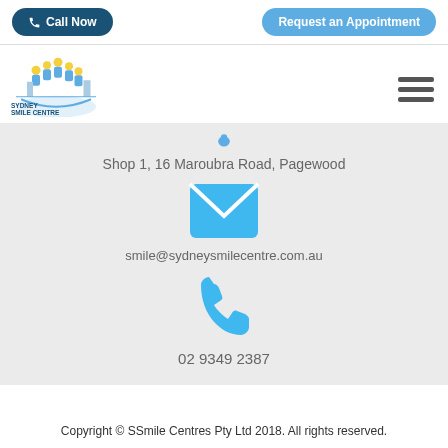[Figure (other): Call Now button and Request an Appointment button in header bar]
[Figure (logo): Sydney Smile Centre logo with stylized city skyline, people, and text]
[Figure (other): Hamburger menu icon (three horizontal lines)]
[Figure (other): Blue location pin icon (partially visible)]
Shop 1, 16 Maroubra Road, Pagewood
[Figure (other): Blue envelope/email icon]
smile@sydneysmilecentre.com.au
[Figure (other): Blue phone/telephone icon]
02 9349 2387
Copyright © SSmile Centres Pty Ltd 2018. All rights reserved.